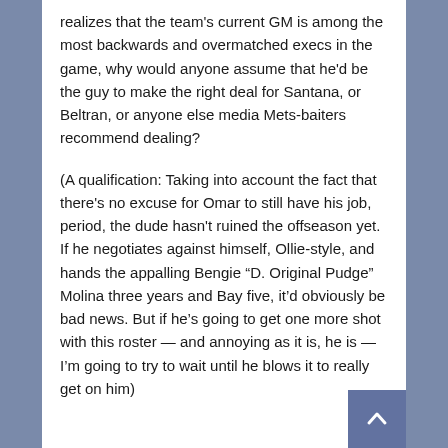realizes that the team's current GM is among the most backwards and overmatched execs in the game, why would anyone assume that he'd be the guy to make the right deal for Santana, or Beltran, or anyone else media Mets-baiters recommend dealing?
(A qualification: Taking into account the fact that there's no excuse for Omar to still have his job, period, the dude hasn't ruined the offseason yet. If he negotiates against himself, Ollie-style, and hands the appalling Bengie “D. Original Pudge” Molina three years and Bay five, it’d obviously be bad news. But if he’s going to get one more shot with this roster — and annoying as it is, he is — I’m going to try to wait until he blows it to really get on him)